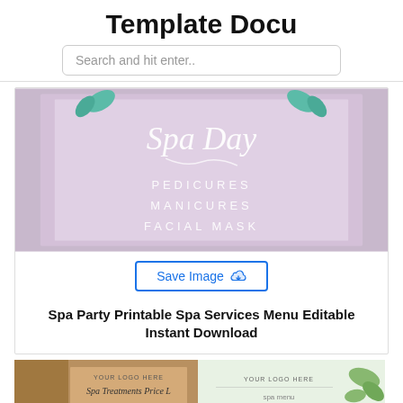Template Docu
Search and hit enter..
[Figure (photo): Spa Day printable menu card on pink/lavender background with white script text reading 'Spa Day' and listed services: PEDICURES, MANICURES, FACIAL MASK, with teal leaf decorations at top]
Save Image
Spa Party Printable Spa Services Menu Editable Instant Download
[Figure (photo): Bottom strip showing two partial thumbnail images: left shows a brown/wood-toned spa treatments price list template with 'YOUR LOGO HERE' text and 'Spa Treatments Price L...' script text; right shows a white/green botanical spa menu template with 'YOUR LOGO HERE' text and green plant decorations]